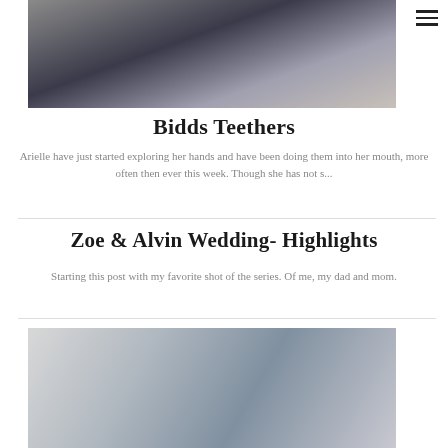[Figure (photo): Woman in dark top holding/nursing a baby, looking down, indoor setting]
Bidds Teethers
Arielle have just started exploring her hands and have been doing them into her mouth, more often then ever this week. Though she has not s...
Zoe & Alvin Wedding- Highlights
Starting this post with my favorite shot of the series. Of me, my dad and mom.
[Figure (photo): Blurred indoor scene with what appears to be items on a surface, light and muted tones]